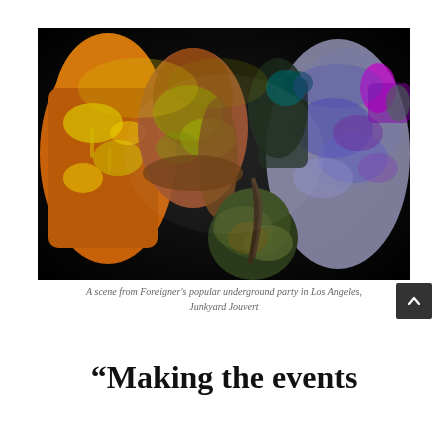[Figure (photo): A crowd of people covered in colorful paint (yellow, orange, blue, purple) at an underground party called Junkyard Jouvert in Los Angeles.]
A scene from Foreigner's popular underground party in Los Angeles, Junkyard Jouvert
“Making the events